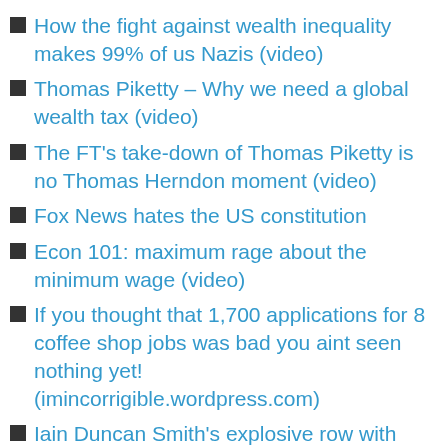How the fight against wealth inequality makes 99% of us Nazis (video)
Thomas Piketty – Why we need a global wealth tax (video)
The FT's take-down of Thomas Piketty is no Thomas Herndon moment (video)
Fox News hates the US constitution
Econ 101: maximum rage about the minimum wage (video)
If you thought that 1,700 applications for 8 coffee shop jobs was bad you aint seen nothing yet! (imincorrigible.wordpress.com)
Iain Duncan Smith's explosive row with LBC's James O'Brien
Iain Duncan Smith and Esther McVey sneer, laugh and then vanish as commons debates why Britain's